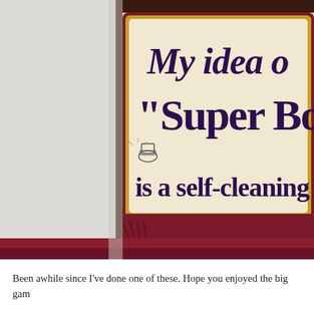[Figure (photo): A decorative wooden sign with a dark red/maroon border and gold trim. The sign reads 'My idea o... "Super Bo... is a self-cleaning...' with a small toilet illustration. The sign rests on a dark red/maroon textured surface, photographed against a white wooden background.]
Been awhile since I've done one of these. Hope you enjoyed the big gam